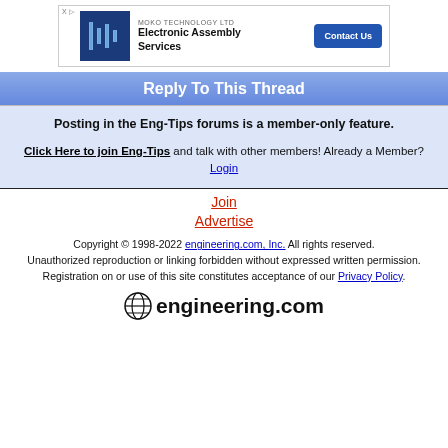[Figure (other): Advertisement banner for MOKO TECHNOLOGY LTD - Electronic Assembly Services with Contact Us button]
Reply To This Thread
Posting in the Eng-Tips forums is a member-only feature.
Click Here to join Eng-Tips and talk with other members! Already a Member? Login
Join
Advertise
Copyright © 1998-2022 engineering.com, Inc. All rights reserved. Unauthorized reproduction or linking forbidden without expressed written permission. Registration on or use of this site constitutes acceptance of our Privacy Policy.
[Figure (logo): engineering.com logo with globe icon]